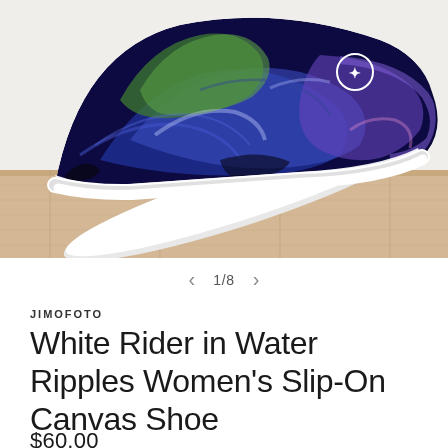[Figure (photo): Product photo of a colorful slip-on canvas shoe with blue, green, purple water ripple pattern and white sole, displayed on a wooden box/crate against a white background. The shoe is shown at an angle revealing the bottom sole and the top printed surface.]
1/8
JIMOFOTO
White Rider in Water Ripples Women's Slip-On Canvas Shoe
$60.00